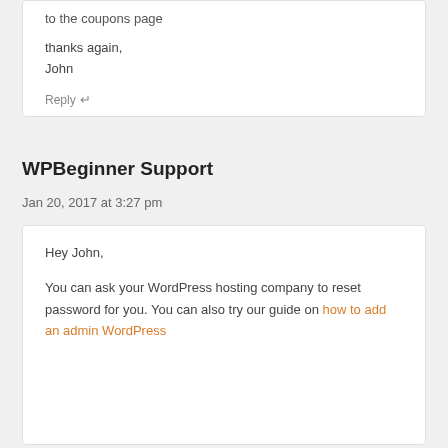to the coupons page

thanks again,
John
Reply ↵
WPBeginner Support
Jan 20, 2017 at 3:27 pm
Hey John,

You can ask your WordPress hosting company to reset password for you. You can also try our guide on how to add an admin WordPress